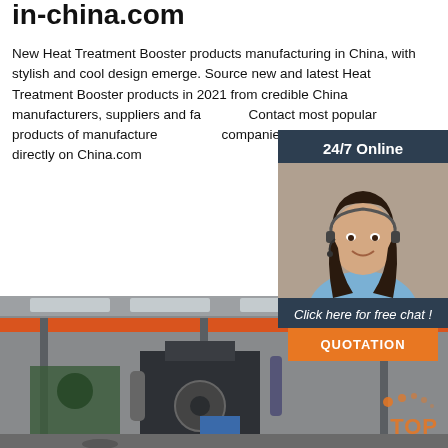in-china.com
New Heat Treatment Booster products manufacturing in China, with stylish and cool design emerge. Source new and latest Heat Treatment Booster products in 2021 from credible China manufacturers, suppliers and factories. Contact most popular products of manufacturers, trading companies, wholesalers & exporter directly on China.com
[Figure (infographic): 24/7 Online customer service chat widget with a smiling woman wearing a headset, dark header, 'Click here for free chat!' text, and orange QUOTATION button]
[Figure (photo): Factory interior showing industrial heat treatment machinery, orange crane beam overhead, metal equipment in a large warehouse setting. Orange TOP badge in lower right corner.]